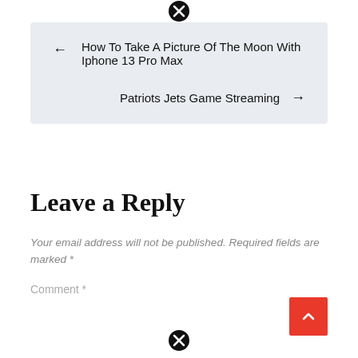[Figure (other): Close (X) icon circle at top center]
← How To Take A Picture Of The Moon With Iphone 13 Pro Max
Patriots Jets Game Streaming →
Leave a Reply
Your email address will not be published. Required fields are marked *
Comment *
[Figure (other): Close (X) icon circle at bottom center]
[Figure (other): Red scroll-to-top button with upward chevron arrow]